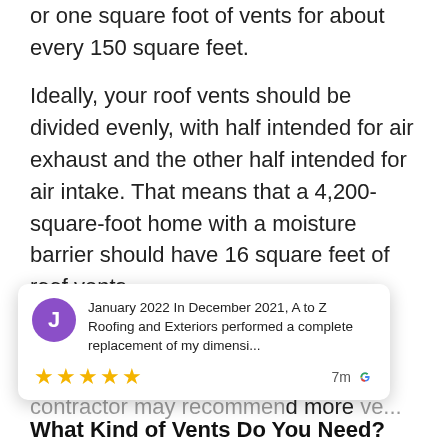or one square foot of vents for about every 150 square feet.
Ideally, your roof vents should be divided evenly, with half intended for air exhaust and the other half intended for air intake. That means that a 4,200-square-foot home with a moisture barrier should have 16 square feet of roof vents.
With all that said, every house is different, and climate can have an impact. In some cases, your roofing contractor may recommend more ve...
[Figure (other): A Google review popup card showing a reviewer avatar with letter J, date January 2022, review text 'In December 2021, A to Z Roofing and Exteriors performed a complete replacement of my dimensi...', five gold star rating, and a timestamp of 7m with Google G logo.]
What Kind of Vents Do You Need?